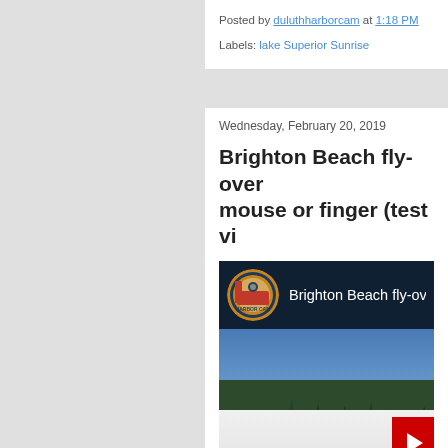Posted by duluthharborcam at 1:18 PM
Labels: lake Superior Sunrise
Wednesday, February 20, 2019
Brighton Beach fly-over mouse or finger (test vi
[Figure (screenshot): YouTube video thumbnail showing Brighton Beach fly-over with Duluth Harbor Cam logo, snowy beach scene with treeline and blue sky, red play button visible at right]